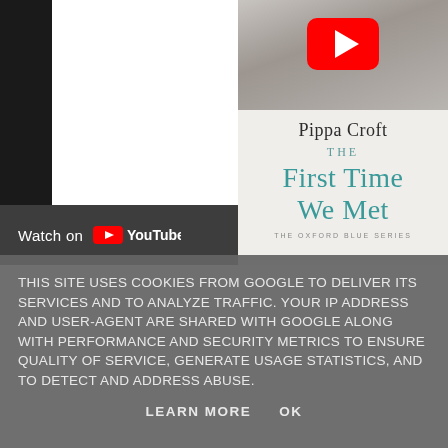[Figure (screenshot): YouTube embedded video thumbnail showing a book cover for 'The First Time We Met' by Pippa Croft, with a red YouTube play button overlay on top of a grayscale photo. A 'Watch on YouTube' bar appears at the bottom left in dark gray.]
THIS SITE USES COOKIES FROM GOOGLE TO DELIVER ITS SERVICES AND TO ANALYZE TRAFFIC. YOUR IP ADDRESS AND USER-AGENT ARE SHARED WITH GOOGLE ALONG WITH PERFORMANCE AND SECURITY METRICS TO ENSURE QUALITY OF SERVICE, GENERATE USAGE STATISTICS, AND TO DETECT AND ADDRESS ABUSE.
LEARN MORE    OK